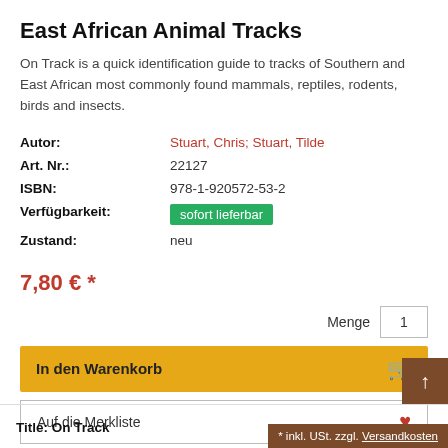East African Animal Tracks
On Track is a quick identification guide to tracks of Southern and East African most commonly found mammals, reptiles, rodents, birds and insects.
| Label | Value |
| --- | --- |
| Autor: | Stuart, Chris; Stuart, Tilde |
| Art. Nr.: | 22127 |
| ISBN: | 978-1-920572-53-2 |
| Verfügbarkeit: | sofort lieferbar |
| Zustand: | neu |
7,80 € *
Menge  1
In den Warenkorb
Auf die Merkliste
Title: On Track
* inkl. USt. zzgl. Versandkosten